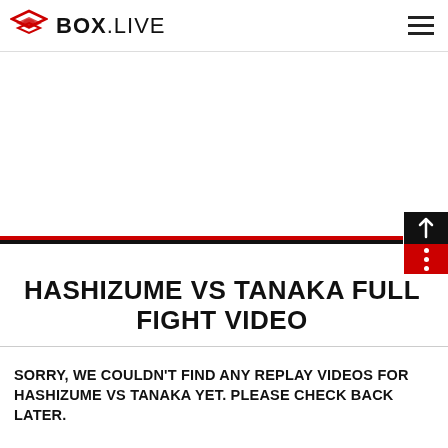BOX.LIVE
HASHIZUME VS TANAKA FULL FIGHT VIDEO
SORRY, WE COULDN'T FIND ANY REPLAY VIDEOS FOR HASHIZUME VS TANAKA YET. PLEASE CHECK BACK LATER.